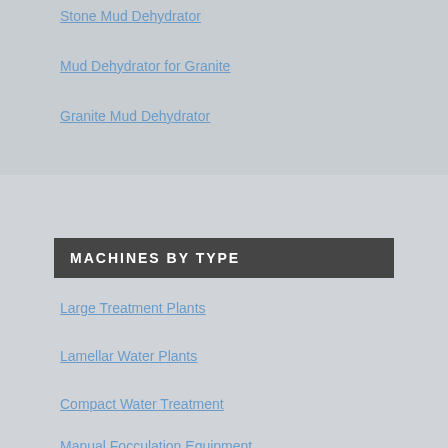Stone Mud Dehydrator
Mud Dehydrator for Granite
Granite Mud Dehydrator
MACHINES BY TYPE
Large Treatment Plants
Lamellar Water Plants
Compact Water Treatment
Manual Focculation Equipment